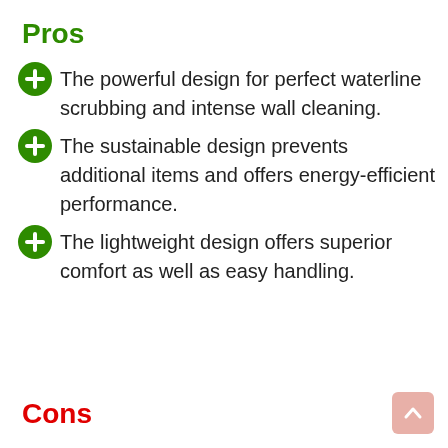Pros
The powerful design for perfect waterline scrubbing and intense wall cleaning.
The sustainable design prevents additional items and offers energy-efficient performance.
The lightweight design offers superior comfort as well as easy handling.
Cons